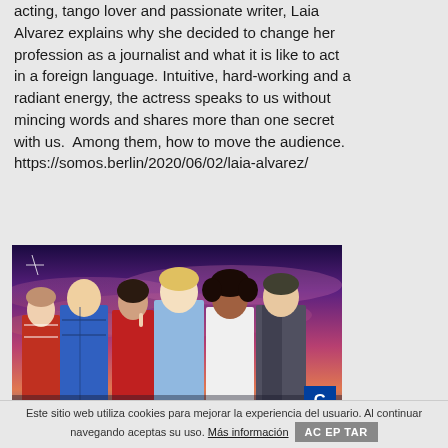acting, tango lover and passionate writer, Laia Alvarez explains why she decided to change her profession as a journalist and what it is like to act in a foreign language. Intuitive, hard-working and a radiant energy, the actress speaks to us without mincing words and shares more than one secret with us.  Among them, how to move the audience. https://somos.berlin/2020/06/02/laia-alvarez/
[Figure (photo): Group photo of six actors/cast members posed against a dramatic purple and pink cloudy sky backdrop. A blue logo badge with letters G and T visible in bottom right corner.]
Este sitio web utiliza cookies para mejorar la experiencia del usuario. Al continuar navegando aceptas su uso. Más información  ACEPTAR